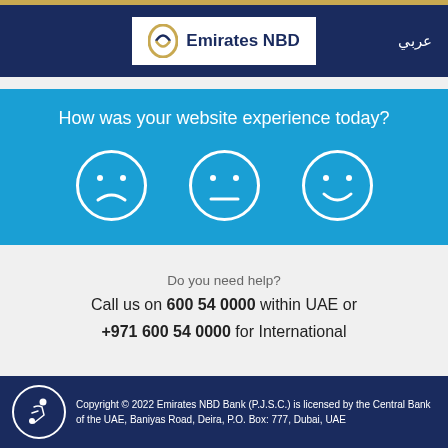[Figure (logo): Emirates NBD bank logo with gold and blue swoosh icon]
عربي
How was your website experience today?
[Figure (infographic): Three emoji faces: sad, neutral, and happy/smiley in white outline circles on blue background]
Do you need help?
Call us on 600 54 0000 within UAE or +971 600 54 0000 for International
Copyright © 2022 Emirates NBD Bank (P.J.S.C.) is licensed by the Central Bank of the UAE, Baniyas Road, Deira, P.O. Box: 777, Dubai, UAE